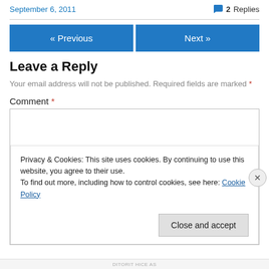September 6, 2011
2 Replies
« Previous
Next »
Leave a Reply
Your email address will not be published. Required fields are marked *
Comment *
Privacy & Cookies: This site uses cookies. By continuing to use this website, you agree to their use.
To find out more, including how to control cookies, see here: Cookie Policy
Close and accept